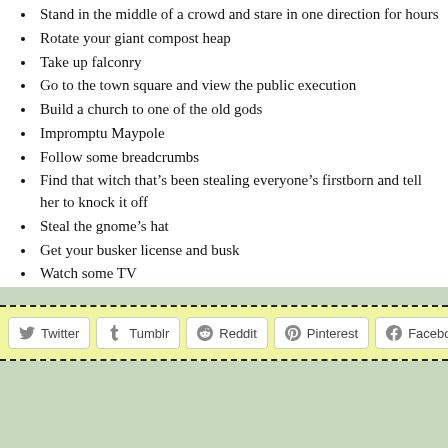Stand in the middle of a crowd and stare in one direction for hours
Rotate your giant compost heap
Take up falconry
Go to the town square and view the public execution
Build a church to one of the old gods
Impromptu Maypole
Follow some breadcrumbs
Find that witch that’s been stealing everyone’s firstborn and tell her to knock it off
Steal the gnome’s hat
Get your busker license and busk
Watch some TV
[Figure (infographic): Social share bar with buttons for Twitter, Tumblr, Reddit, Pinterest, and Facebook on a yellow-green background with dashed border top and bottom.]